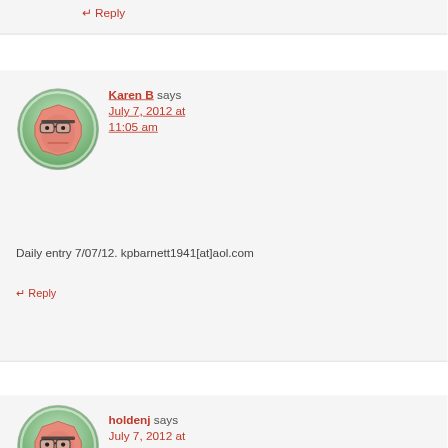Reply
[Figure (illustration): Cartoon avatar of a grumpy/serious looking octagon-shaped face character with glasses, salmon/orange color, on a circular green-gradient background]
Karen B says July 7, 2012 at 11:05 am
Daily entry 7/07/12. kpbarnett1941[at]aol.com
Reply
[Figure (illustration): Cartoon avatar similar to the first, partially visible at bottom, same octagon face character on circular green background]
holdenj says July 7, 2012 at